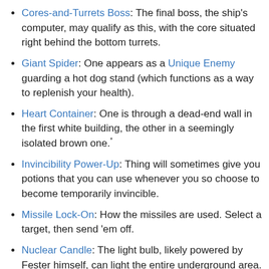Cores-and-Turrets Boss: The final boss, the ship's computer, may qualify as this, with the core situated right behind the bottom turrets.
Giant Spider: One appears as a Unique Enemy guarding a hot dog stand (which functions as a way to replenish your health).
Heart Container: One is through a dead-end wall in the first white building, the other in a seemingly isolated brown one.*
Invincibility Power-Up: Thing will sometimes give you potions that you can use whenever you so choose to become temporarily invincible.
Missile Lock-On: How the missiles are used. Select a target, then send 'em off.
Nuclear Candle: The light bulb, likely powered by Fester himself, can light the entire underground area.